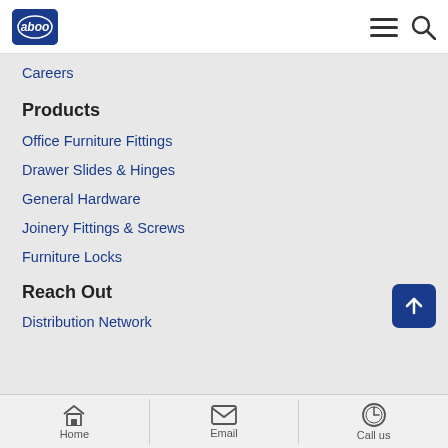aboo logo, hamburger menu icon, search icon
Careers
Products
Office Furniture Fittings
Drawer Slides & Hinges
General Hardware
Joinery Fittings & Screws
Furniture Locks
Reach Out
Distribution Network
Home | Email | Call us